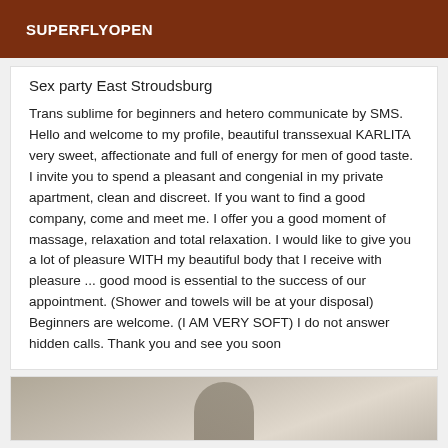SUPERFLYOPEN
Sex party East Stroudsburg
Trans sublime for beginners and hetero communicate by SMS. Hello and welcome to my profile, beautiful transsexual KARLITA very sweet, affectionate and full of energy for men of good taste. I invite you to spend a pleasant and congenial in my private apartment, clean and discreet. If you want to find a good company, come and meet me. I offer you a good moment of massage, relaxation and total relaxation. I would like to give you a lot of pleasure WITH my beautiful body that I receive with pleasure ... good mood is essential to the success of our appointment. (Shower and towels will be at your disposal) Beginners are welcome. (I AM VERY SOFT) I do not answer hidden calls. Thank you and see you soon
[Figure (photo): Partial photo of a person, dimly lit, partially visible at the bottom of the page]